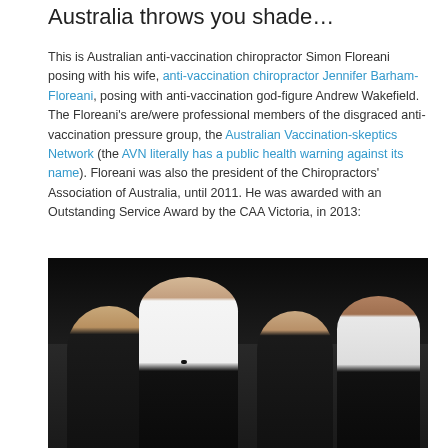Australia throws you shade…
This is Australian anti-vaccination chiropractor Simon Floreani posing with his wife, anti-vaccination chiropractor Jennifer Barham-Floreani, posing with anti-vaccination god-figure Andrew Wakefield. The Floreani's are/were professional members of the disgraced anti-vaccination pressure group, the Australian Vaccination-skeptics Network (the AVN literally has a public health warning against its name). Floreani was also the president of the Chiropractors' Association of Australia, until 2011. He was awarded with an Outstanding Service Award by the CAA Victoria, in 2013:
[Figure (photo): Group photo of four people at a formal event. From left: a blonde woman, a large man in a tuxedo with bow tie, a brunette woman, and a man in a white shirt. Dark background with a banner visible.]